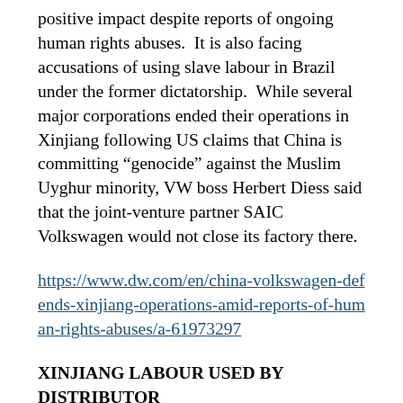positive impact despite reports of ongoing human rights abuses.  It is also facing accusations of using slave labour in Brazil under the former dictatorship.  While several major corporations ended their operations in Xinjiang following US claims that China is committing “genocide” against the Muslim Uyghur minority, VW boss Herbert Diess said that the joint-venture partner SAIC Volkswagen would not close its factory there.
https://www.dw.com/en/china-volkswagen-defends-xinjiang-operations-amid-reports-of-human-rights-abuses/a-61973297
XINJIANG LABOUR USED BY DISTRIBUTOR